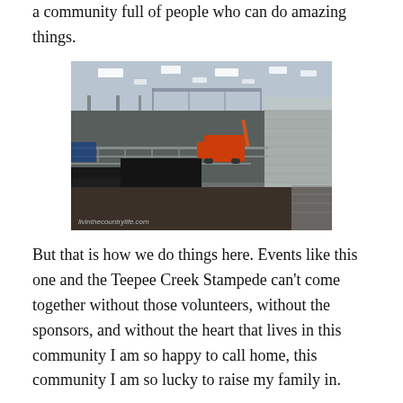a community full of people who can do amazing things.
[Figure (photo): Interior of an arena being set up for a rodeo or livestock show, with metal pen fencing, bleacher seating on the right, an orange forklift/telehandler in the center, overhead lighting, and black stage panels in the foreground. Watermark reads livinthecountrylife.com]
But that is how we do things here. Events like this one and the Teepee Creek Stampede can't come together without those volunteers, without the sponsors, and without the heart that lives in this community I am so happy to call home, this community I am so lucky to raise my family in.